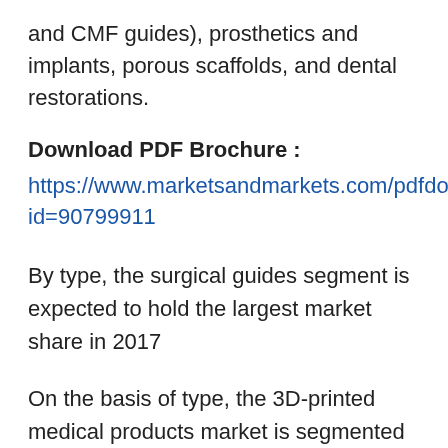and CMF guides), prosthetics and implants, porous scaffolds, and dental restorations.
Download PDF Brochure :
https://www.marketsandmarkets.com/pdfdownload.asp id=90799911
By type, the surgical guides segment is expected to hold the largest market share in 2017
On the basis of type, the 3D-printed medical products market is segmented into surgical guides, surgical instruments, prosthetics & implants, and tissue engineering products. The surgical guides segment is expected to account for the largest share of the 3D printing medical devices market in